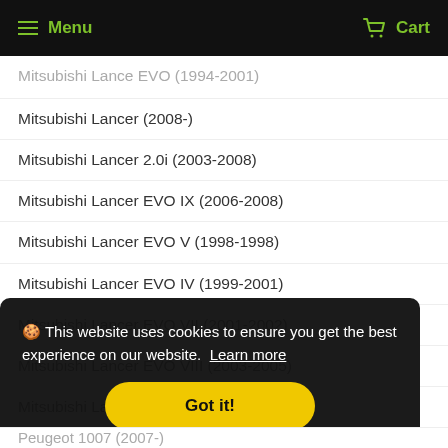Menu  Cart
Mitsubishi Lance EVO (1994-2001) [clipped]
Mitsubishi Lancer (2008-)
Mitsubishi Lancer 2.0i (2003-2008)
Mitsubishi Lancer EVO IX (2006-2008)
Mitsubishi Lancer EVO V (1998-1998)
Mitsubishi Lancer EVO IV (1999-2001)
Mitsubishi Lancer EVO VII (2001-2002)
Mitsubishi Lancer EVO VIII (2003-2005)
Mitsubishi Lancer EVO X (2008-)
Mitsubishi Outlander (2003-2007)
Mitsubishi Outlander (2007-2013) [partially clipped]
🍪 This website uses cookies to ensure you get the best experience on our website. Learn more
Got it!
Peugeot 1007 (2007-)  [partially clipped]